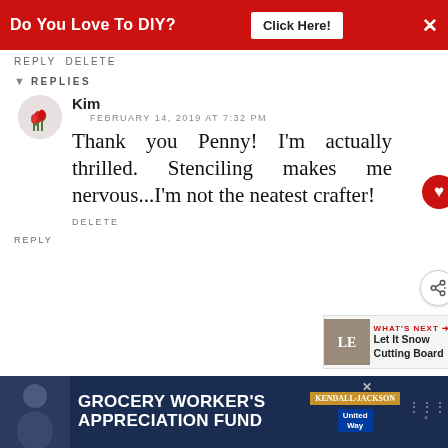Do You Love To DIY?  Click Here!  ×
REPLY DELETE
REPLIES
Kim
FEBRUARY 14, 2019 AT 7:32 PM
Thank you Penny! I'm actually thrilled. Stenciling makes me nervous...I'm not the neatest crafter!
DELETE
REPLY
[Figure (screenshot): What's Next widget showing thumbnail and 'Let It Snow Cutting Board' title]
[Figure (infographic): Grocery Worker's Appreciation Fund advertisement with Kendall-Jackson and United Way logos]